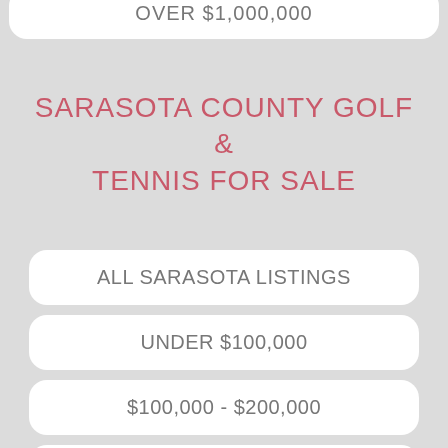OVER $1,000,000
SARASOTA COUNTY GOLF & TENNIS FOR SALE
ALL SARASOTA LISTINGS
UNDER $100,000
$100,000 - $200,000
$300,000 - $400,000